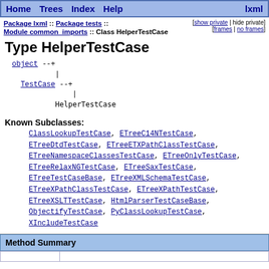Home  Trees  Index  Help  lxml
Package lxml :: Package tests :: Module common_imports :: Class HelperTestCase  [show private | hide private] [frames | no frames]
Type HelperTestCase
[Figure (flowchart): Inheritance diagram showing object --+ | TestCase --+ | HelperTestCase]
Known Subclasses:
ClassLookupTestCase, ETreeC14NTestCase, ETreeDtdTestCase, ETreeETXPathClassTestCase, ETreeNamespaceClassesTestCase, ETreeOnlyTestCase, ETreeRelaxNGTestCase, ETreeSaxTestCase, ETreeTestCaseBase, ETreeXMLSchemaTestCase, ETreeXPathClassTestCase, ETreeXPathTestCase, ETreeXSLTTestCase, HtmlParserTestCaseBase, ObjectifyTestCase, PyClassLookupTestCase, XIncludeTestCase
Method Summary